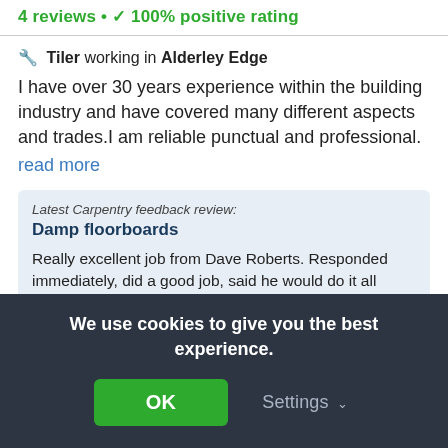4 reviews • ✓ 100% positive rating
🔧 Tiler working in Alderley Edge
I have over 30 years experience within the building industry and have covered many different aspects and trades.I am reliable punctual and professional.
read more
Latest Carpentry feedback review:
Damp floorboards
Really excellent job from Dave Roberts. Responded immediately, did a good job, said he would do it all within a week and did it within that time, did not charge more even though more work was uncovered as the job went on, always there...
We use cookies to give you the best experience.
OK
Settings ∨